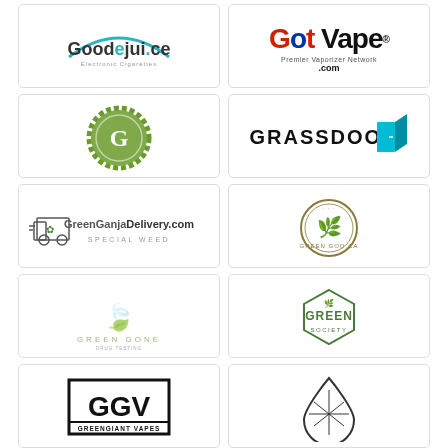[Figure (logo): GoodEjuice Electronic Cigarettes logo with teal arc]
[Figure (logo): Got Vape Premier Vaporizer Network .com logo]
[Figure (logo): Green wax seal badge with G letter]
[Figure (logo): GRASSDOOR logo with teal door icon]
[Figure (logo): GreenGanjaDelivery.com Special Weed logo with delivery truck]
[Figure (logo): Green Goo CA circular badge logo with cannabis leaf]
[Figure (logo): Green Gone cannabis leaf logo]
[Figure (logo): Green Society hexagon badge logo]
[Figure (logo): GGV GreenGiant Vapes boxed text logo]
[Figure (logo): Cannabis droplet geometric logo outline]